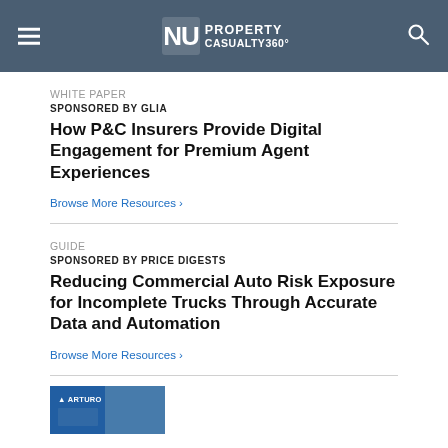NU PROPERTY CASUALTY360°
WHITE PAPER
SPONSORED BY GLIA
How P&C Insurers Provide Digital Engagement for Premium Agent Experiences
Browse More Resources ›
GUIDE
SPONSORED BY PRICE DIGESTS
Reducing Commercial Auto Risk Exposure for Incomplete Trucks Through Accurate Data and Automation
Browse More Resources ›
[Figure (photo): Partial thumbnail image with Arturo branding, showing a blue-toned aerial/landscape photo]